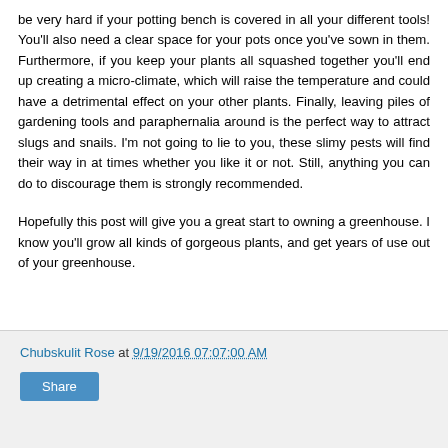be very hard if your potting bench is covered in all your different tools! You'll also need a clear space for your pots once you've sown in them. Furthermore, if you keep your plants all squashed together you'll end up creating a micro-climate, which will raise the temperature and could have a detrimental effect on your other plants. Finally, leaving piles of gardening tools and paraphernalia around is the perfect way to attract slugs and snails. I'm not going to lie to you, these slimy pests will find their way in at times whether you like it or not. Still, anything you can do to discourage them is strongly recommended.

Hopefully this post will give you a great start to owning a greenhouse. I know you'll grow all kinds of gorgeous plants, and get years of use out of your greenhouse.
Chubskulit Rose at 9/19/2016 07:07:00 AM
Share